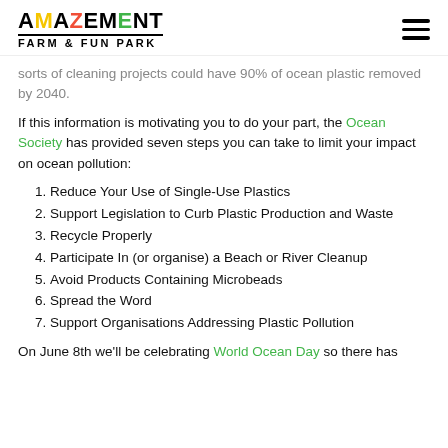AMAZEMENT FARM & FUN PARK
sorts of cleaning projects could have 90% of ocean plastic removed by 2040.
If this information is motivating you to do your part, the Ocean Society has provided seven steps you can take to limit your impact on ocean pollution:
Reduce Your Use of Single-Use Plastics
Support Legislation to Curb Plastic Production and Waste
Recycle Properly
Participate In (or organise) a Beach or River Cleanup
Avoid Products Containing Microbeads
Spread the Word
Support Organisations Addressing Plastic Pollution
On June 8th we'll be celebrating World Ocean Day so there has